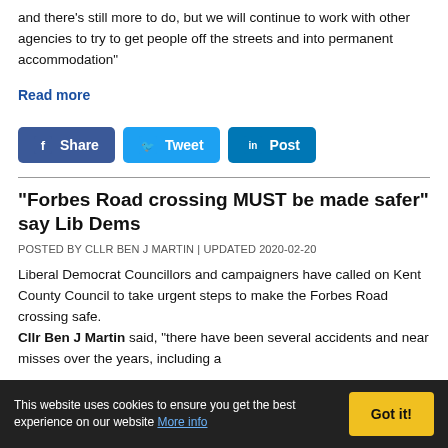and there's still more to do, but we will continue to work with other agencies to try to get people off the streets and into permanent accommodation"
Read more
[Figure (other): Social media sharing buttons: Facebook Share, Twitter Tweet, LinkedIn Post]
"Forbes Road crossing MUST be made safer" say Lib Dems
POSTED BY CLLR BEN J MARTIN | UPDATED 2020-02-20
Liberal Democrat Councillors and campaigners have called on Kent County Council to take urgent steps to make the Forbes Road crossing safe. Cllr Ben J Martin said, "there have been several accidents and near misses over the years, including a
This website uses cookies to ensure you get the best experience on our website More info